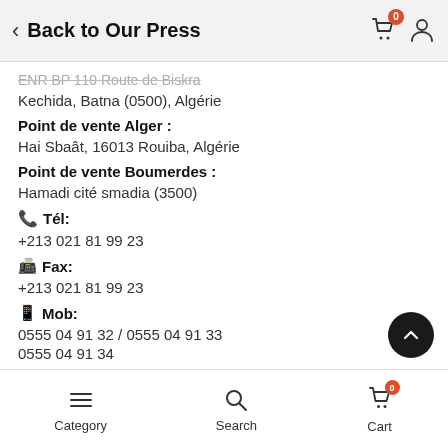Back to Our Press
ENR BP 110 Route de Biskra
Kechida, Batna (0500), Algérie
Point de vente Alger :
Hai Sbaât, 16013 Rouiba, Algérie
Point de vente Boumerdes :
Hamadi cité smadia (3500)
Tél:
+213 021 81 99 23
Fax:
+213 021 81 99 23
Mob:
0555 04 91 32 / 0555 04 91 33
0555 04 91 34
e-mail :
Category   Search   Cart